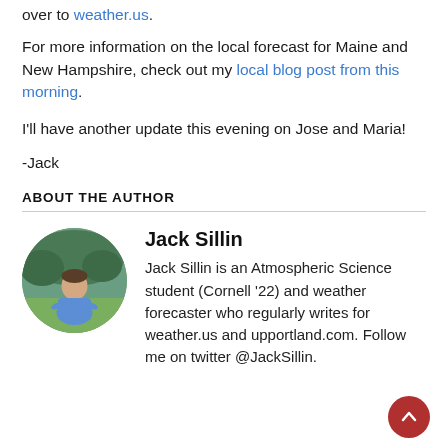over to weather.us.
For more information on the local forecast for Maine and New Hampshire, check out my local blog post from this morning.
I'll have another update this evening on Jose and Maria!
-Jack
ABOUT THE AUTHOR
[Figure (photo): Oval-cropped photo of Jack Sillin outdoors in a field, wearing a blue shirt]
Jack Sillin
Jack Sillin is an Atmospheric Science student (Cornell '22) and weather forecaster who regularly writes for weather.us and upportland.com. Follow me on twitter @JackSillin.